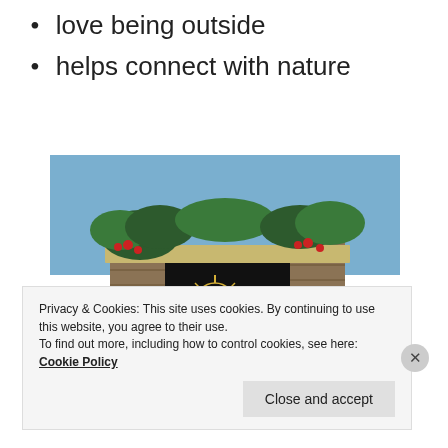love being outside
helps connect with nature
[Figure (photo): Entrance sign of Longwood Gardens with stone pillars decorated with holiday greenery and red berries, black iron gate with the Longwood Gardens logo and name, shrubs in the foreground, blue sky in the background.]
Privacy & Cookies: This site uses cookies. By continuing to use this website, you agree to their use.
To find out more, including how to control cookies, see here: Cookie Policy